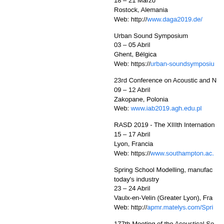18 – 21 Marzo
Rostock, Alemania
Web: http://www.daga2019.de/
Urban Sound Symposium
03 – 05 Abril
Ghent, Bélgica
Web: https://urban-soundsymposiu...
23rd Conference on Acoustic and N...
09 – 12 Abril
Zakopane, Polonia
Web: www.iab2019.agh.edu.pl
RASD 2019 - The XIIIth Internation...
15 – 17 Abril
Lyon, Francia
Web: https://www.southampton.ac...
Spring School Modelling, manufac...
today's industry
23 – 24 Abril
Vaulx-en-Velin (Greater Lyon), Fra...
Web: http://apmr.matelys.com/Spri...
177th Meeting of the Acoustical So...
13 – 17 Mayo
Louisville, Kentucky, Estados Unid...
Web: http://www.acousticalsociety...
International Symposium on Fluid A...
20 – 22 Mayo
Sopot, Polonia